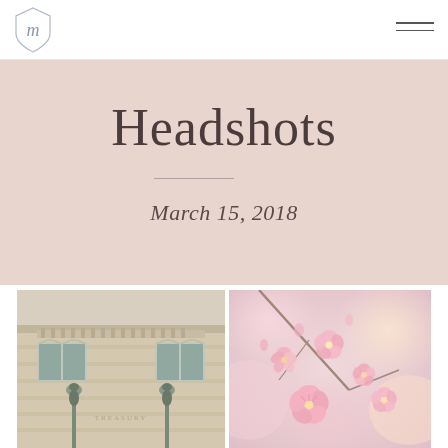Headshots
March 15, 2018
[Figure (photo): Left photo: exterior of a classical stone building with ornate architectural details, columns, decorative arches, balustrade, and bronze lamp post statues in the foreground]
[Figure (photo): Right photo: close-up of pink cherry blossom flowers in soft focus, blurred bokeh background in pink and peach tones]